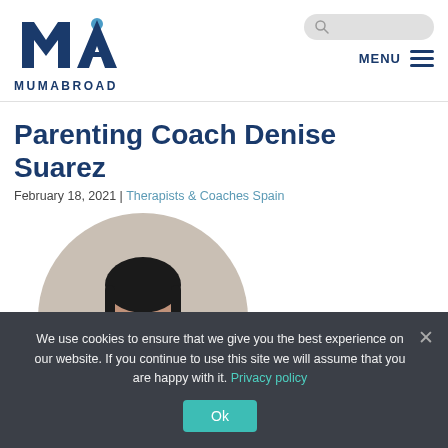[Figure (logo): MumAbroad logo — stylized M and A with a map pin, dark navy blue. Text below reads MUMABROAD.]
MENU
Parenting Coach Denise Suarez
February 18, 2021 | Therapists & Coaches Spain
[Figure (photo): Circular portrait photo of a woman with dark hair, wearing dark clothing, against a beige/grey background.]
We use cookies to ensure that we give you the best experience on our website. If you continue to use this site we will assume that you are happy with it. Privacy policy
Ok